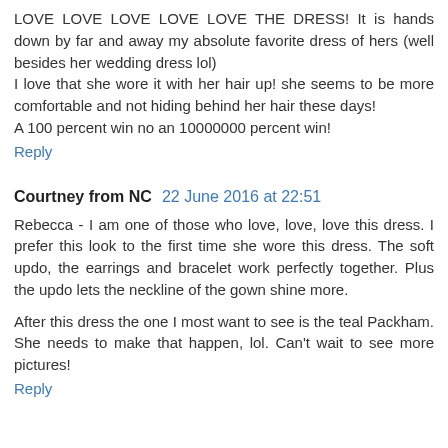LOVE LOVE LOVE LOVE LOVE THE DRESS! It is hands down by far and away my absolute favorite dress of hers (well besides her wedding dress lol)
I love that she wore it with her hair up! she seems to be more comfortable and not hiding behind her hair these days!
A 100 percent win no an 10000000 percent win!
Reply
Courtney from NC  22 June 2016 at 22:51
Rebecca - I am one of those who love, love, love this dress. I prefer this look to the first time she wore this dress. The soft updo, the earrings and bracelet work perfectly together. Plus the updo lets the neckline of the gown shine more.
After this dress the one I most want to see is the teal Packham. She needs to make that happen, lol. Can't wait to see more pictures!
Reply